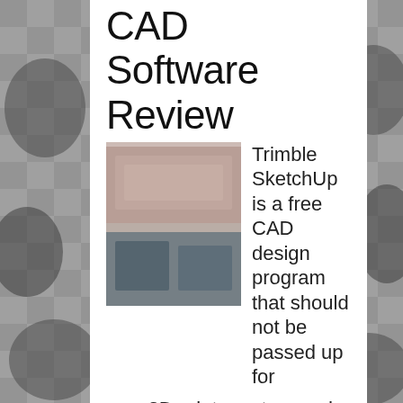CAD Software Review
[Figure (photo): Blurred thumbnail image of SketchUp CAD software interface or book cover]
Trimble SketchUp is a free CAD design program that should not be passed up for new 3D print creators and those collaborating with a team to create 3D models. Looking at who should consider making the jump from the free version to the Pro version and